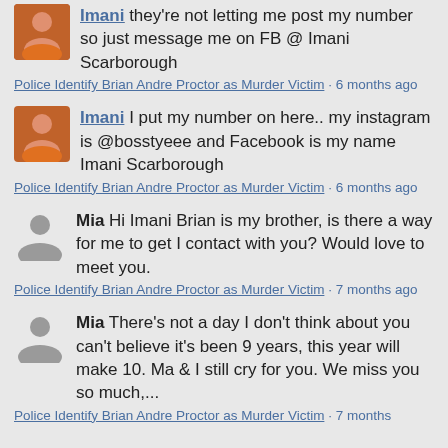Imani they're not letting me post my number so just message me on FB @ Imani Scarborough
Police Identify Brian Andre Proctor as Murder Victim · 6 months ago
Imani I put my number on here.. my instagram is @bosstyeee and Facebook is my name Imani Scarborough
Police Identify Brian Andre Proctor as Murder Victim · 6 months ago
Mia Hi Imani Brian is my brother, is there a way for me to get I contact with you? Would love to meet you.
Police Identify Brian Andre Proctor as Murder Victim · 7 months ago
Mia There's not a day I don't think about you can't believe it's been 9 years, this year will make 10. Ma & I still cry for you. We miss you so much,...
Police Identify Brian Andre Proctor as Murder Victim · 7 months